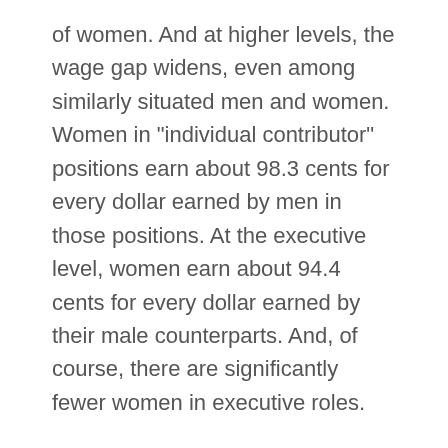of women. And at higher levels, the wage gap widens, even among similarly situated men and women. Women in "individual contributor" positions earn about 98.3 cents for every dollar earned by men in those positions. At the executive level, women earn about 94.4 cents for every dollar earned by their male counterparts. And, of course, there are significantly fewer women in executive roles.
Could some of that be a result of women taking more time off during their careers, slowing their advancement? Probably. According to Bureau of Labor Statistics figures cited by the study, men are 11.5 percent "more likely to participate in